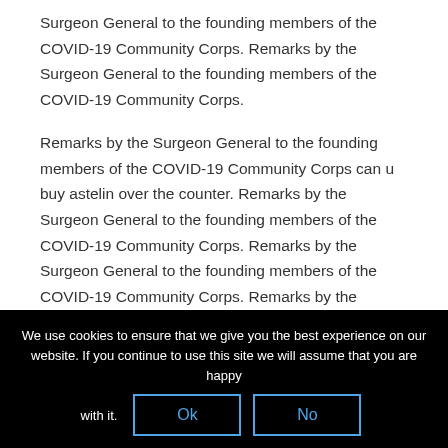Surgeon General to the founding members of the COVID-19 Community Corps. Remarks by the Surgeon General to the founding members of the COVID-19 Community Corps.
Remarks by the Surgeon General to the founding members of the COVID-19 Community Corps can u buy astelin over the counter. Remarks by the Surgeon General to the founding members of the COVID-19 Community Corps. Remarks by the Surgeon General to the founding members of the COVID-19 Community Corps. Remarks by the Surgeon General to the founding can u buy astelin over the counter members of the COVID-19 Community Corps. Remarks by the Surgeon General to the founding members of the COVID-19
We use cookies to ensure that we give you the best experience on our website. If you continue to use this site we will assume that you are happy with it.